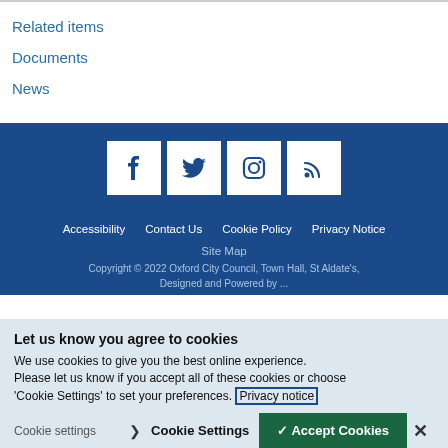Related items
Documents
News
[Figure (infographic): Social media icons: Facebook, Twitter, Instagram, RSS feed — white square icons on dark blue background]
Accessibility   Contact Us   Cookie Policy   Privacy Notice
Site Map
Copyright © 2022 Oxford City Council, Town Hall, St Aldate's,
Designed and Powered by ...
Let us know you agree to cookies
We use cookies to give you the best online experience. Please let us know if you accept all of these cookies or choose 'Cookie Settings' to set your preferences. Privacy notice
Cookie settings  ❯ Cookie Settings   ✓ Accept Cookies   ✕